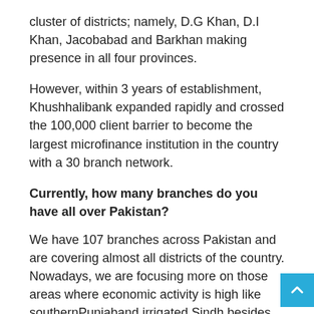cluster of districts; namely, D.G Khan, D.I Khan, Jacobabad and Barkhan making presence in all four provinces.
However, within 3 years of establishment, Khushhalibank expanded rapidly and crossed the 100,000 client barrier to become the largest microfinance institution in the country with a 30 branch network.
Currently, how many branches do you have all over Pakistan?
We have 107 branches across Pakistan and are covering almost all districts of the country. Nowadays, we are focusing more on those areas where economic activity is high like southernPunjaband irrigated Sindh besides other provinces and AJK.
What is the size of your portfolio?